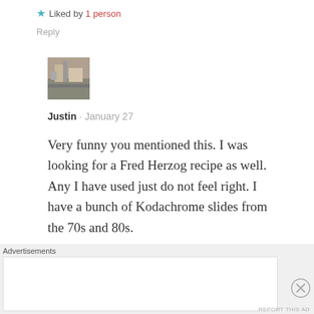★ Liked by 1 person
Reply
[Figure (photo): Small square avatar photo of a street scene]
Justin · January 27
Very funny you mentioned this. I was looking for a Fred Herzog recipe as well. Any I have used just do not feel right. I have a bunch of Kodachrome slides from the 70s and 80s.
I was tinkering with Classic Neg to see if that would work. Maybe Richie would be
Advertisements
REPORT THIS AD